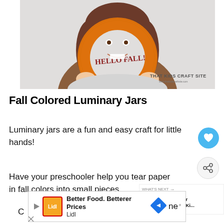[Figure (photo): A smiling girl holding an orange paper plate craft with 'HELLO FALL!' written on it, with watermark 'THAT KIDS CRAFT SITE' in the bottom right corner]
Fall Colored Luminary Jars
Luminary jars are a fun and easy craft for little hands!
Have your preschooler help you tear paper in fall colors into small pieces.